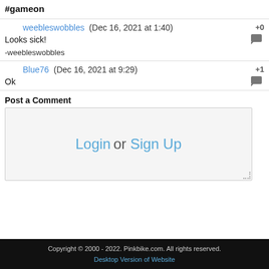#gameon
weebleswobbles (Dec 16, 2021 at 1:40)
Looks sick!
-weebleswobbles
Blue76 (Dec 16, 2021 at 9:29)
Ok
Post a Comment
Login or Sign Up
Copyright © 2000 - 2022. Pinkbike.com. All rights reserved.
Desktop Version of Website